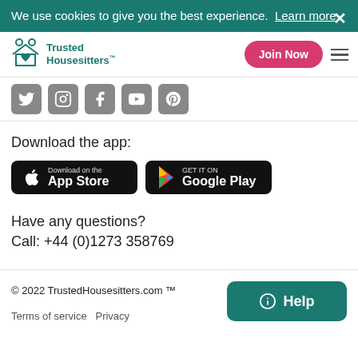We use cookies to give you the best experience. Learn more
[Figure (logo): Trusted Housesitters logo with teal icon and text]
Join Now
[Figure (infographic): Social media icons row: Twitter, Instagram, Facebook, YouTube, Pinterest]
Download the app:
[Figure (screenshot): App Store download button]
[Figure (screenshot): Google Play download button]
Have any questions?
Call: +44 (0)1273 358769
© 2022 TrustedHousesitters.com ™
Terms of service   Privacy